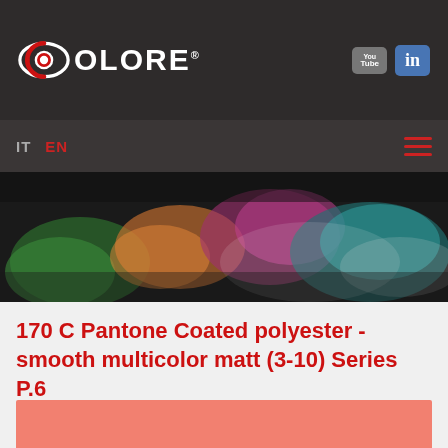COLORE
[Figure (logo): Colore brand logo with eye/lens icon and text COLORE with trademark symbol, YouTube and LinkedIn social icons on the right]
[Figure (photo): Dark background with colorful powder explosion in green, pink, orange, teal and white tones spreading across the frame]
170 C Pantone Coated polyester - smooth multicolor matt (3-10) Series P.6
[Figure (other): Salmon/coral color swatch rectangle showing Pantone 170 C color]